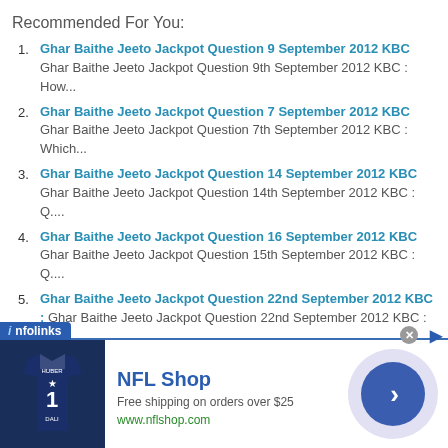Recommended For You:
Ghar Baithe Jeeto Jackpot Question 9 September 2012 KBC Ghar Baithe Jeeto Jackpot Question 9th September 2012 KBC : How...
Ghar Baithe Jeeto Jackpot Question 7 September 2012 KBC Ghar Baithe Jeeto Jackpot Question 7th September 2012 KBC : Which...
Ghar Baithe Jeeto Jackpot Question 14 September 2012 KBC Ghar Baithe Jeeto Jackpot Question 14th September 2012 KBC : Q....
Ghar Baithe Jeeto Jackpot Question 16 September 2012 KBC Ghar Baithe Jeeto Jackpot Question 15th September 2012 KBC : Q....
Ghar Baithe Jeeto Jackpot Question 22nd September 2012 KBC : Ghar Baithe Jeeto Jackpot Question 22nd September 2012 KBC : Q....
Ghar Baithe Jeeto Jackpot Question for 18 August 2012 Ghar Baithe Jackpot Question for 18 August 2012:  WenLock...
[Figure (screenshot): Infolinks advertisement banner for NFL Shop showing a Dallas Cowboys jersey, text 'NFL Shop', 'Free shipping on orders over $25', 'www.nflshop.com', and a blue circular arrow button on the right.]